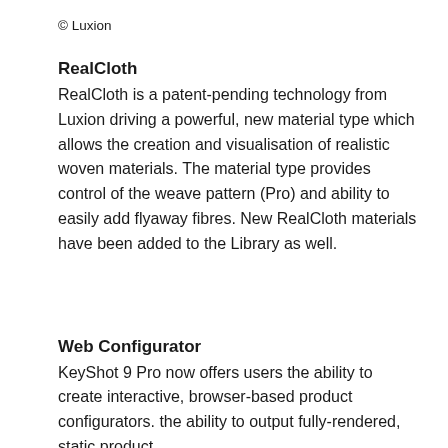© Luxion
RealCloth
RealCloth is a patent-pending technology from Luxion driving a powerful, new material type which allows the creation and visualisation of realistic woven materials. The material type provides control of the weave pattern (Pro) and ability to easily add flyaway fibres. New RealCloth materials have been added to the Library as well.
Web Configurator
KeyShot 9 Pro now offers users the ability to create interactive, browser-based product configurators. the ability to output fully-rendered, static product